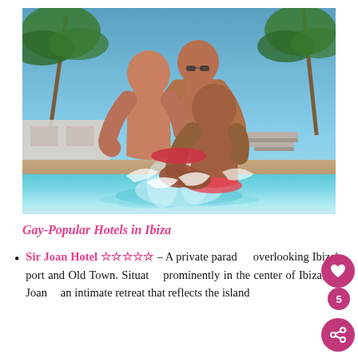[Figure (photo): Three muscular men playing in a swimming pool at a resort, splashing water. Palm trees and resort buildings visible in background. Sunny day with blue sky.]
Gay-Popular Hotels in Ibiza
Sir Joan Hotel ☆☆☆☆☆ – A private paradise overlooking Ibiza's port and Old Town. Situated prominently in the center of Ibiza, Sir Joan is an intimate retreat that reflects the island's